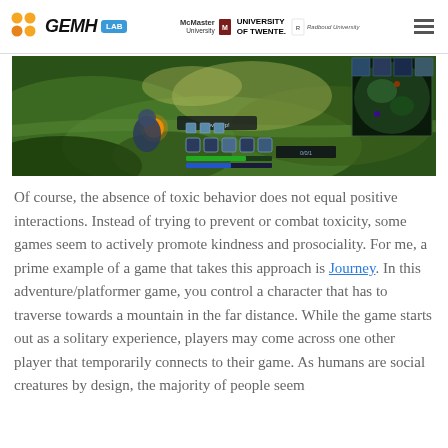GEMH LAB | McMaster University | University of Twente | Radboud University
[Figure (screenshot): Screenshot of League of Legends gameplay showing a character on a green terrain map with HUD elements including minimap in top right corner, ability icons, and health/mana bars]
Of course, the absence of toxic behavior does not equal positive interactions. Instead of trying to prevent or combat toxicity, some games seem to actively promote kindness and prosociality. For me, a prime example of a game that takes this approach is Journey. In this adventure/platformer game, you control a character that has to traverse towards a mountain in the far distance. While the game starts out as a solitary experience, players may come across one other player that temporarily connects to their game. As humans are social creatures by design, the majority of people seem